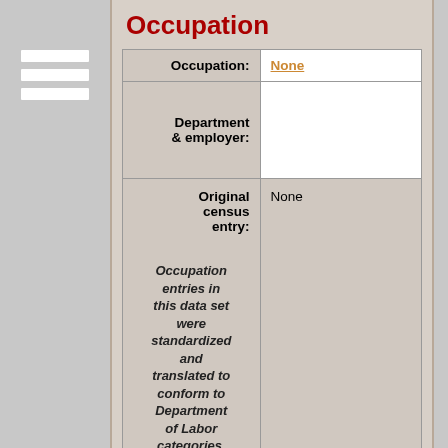Occupation
| Occupation: | None |
| Department & employer: |  |
| Original census entry: | None |
| Occupation entries in this data set were standardized and translated to conform to Department of Labor categories. Here is the |  |